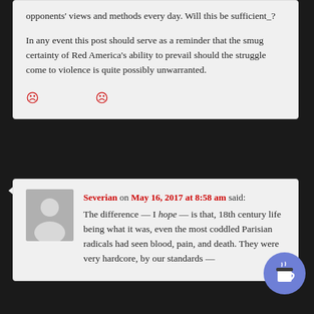opponents' views and methods every day. Will this be sufficient_?
In any event this post should serve as a reminder that the smug certainty of Red America's ability to prevail should the struggle come to violence is quite possibly unwarranted.
[Figure (illustration): Two red frowning emoji face icons]
[Figure (photo): Gray default avatar silhouette placeholder image]
Severian on May 16, 2017 at 8:58 am said:
The difference — I hope — is that, 18th century life being what it was, even the most coddled Parisian radicals had seen blood, pain, and death. They were very hardcore, by our standards —
[Figure (illustration): Blue circular coffee cup button/widget in bottom right corner]